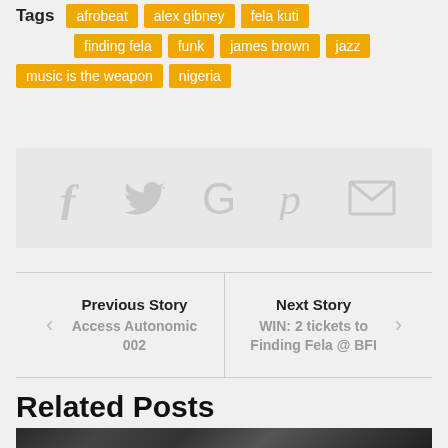Tags
afrobeat
alex gibney
fela kuti
finding fela
funk
james brown
jazz
music is the weapon
nigeria
[Figure (infographic): Social sharing icons: Facebook, Twitter, Google+, Pinterest, Email (envelope), displayed in light gray on a light gray background]
Previous Story Access Autonomic 002
Next Story WIN: 2 tickets to Finding Fela @ BFI
Related Posts
[Figure (photo): Black and white photo of a person wearing glasses and a hat, viewed from below]